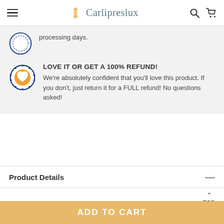Carlipreslux
processing days.
LOVE IT OR GET A 100% REFUND! We're absolutely confident that you'll love this product. If you don't, just return it for a FULL refund! No questions asked!
Product Details
TOP
Item Type: Cosmetic Bag